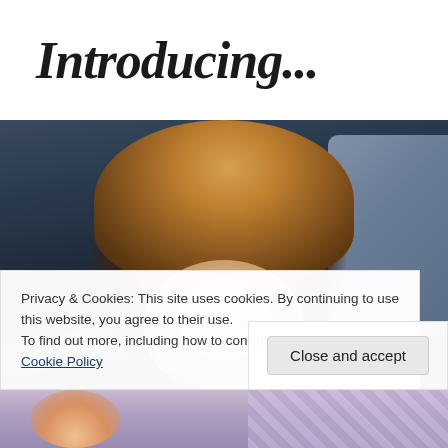Introducing...
[Figure (photo): A young child with long brown/blonde hair looking down, sitting against a dark navy sofa with a gray-blue pillow visible in the upper right corner.]
Privacy & Cookies: This site uses cookies. By continuing to use this website, you agree to their use.
To find out more, including how to control cookies, see here: Cookie Policy
Close and accept